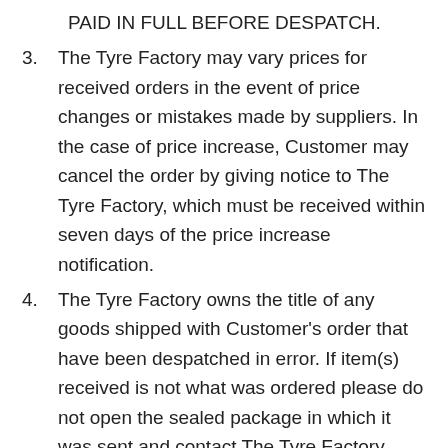PAID IN FULL BEFORE DESPATCH.
3. The Tyre Factory may vary prices for received orders in the event of price changes or mistakes made by suppliers. In the case of price increase, Customer may cancel the order by giving notice to The Tyre Factory, which must be received within seven days of the price increase notification.
4. The Tyre Factory owns the title of any goods shipped with Customer's order that have been despatched in error. If item(s) received is not what was ordered please do not open the sealed package in which it was sent and contact The Tyre Factory immediately. Any attempt to use the incorrect item will be deemed to be an acceptance by the Customer of the